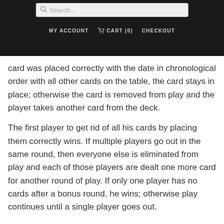Search... | MY ACCOUNT | CART (0) | CHECKOUT
card was placed correctly with the date in chronological order with all other cards on the table, the card stays in place; otherwise the card is removed from play and the player takes another card from the deck.
The first player to get rid of all his cards by placing them correctly wins. If multiple players go out in the same round, then everyone else is eliminated from play and each of those players are dealt one more card for another round of play. If only one player has no cards after a bonus round, he wins; otherwise play continues until a single player goes out.